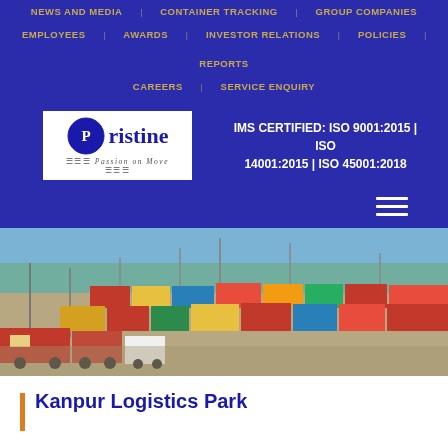NEWS AND MEDIA | CONTAINER TRACKING | GROUP COMPANIES
EMPLOYEES | AWARDS | INVESTOR RELATIONS | POLICIES | REPORTS
CAREERS | SERVICE ENQUIRY
[Figure (logo): Pristine logo with circular emblem and tagline Passion on Move]
IMS CERTIFIED: ISO 9001:2015 | ISO 14001:2015 | ISO 45001:2018
[Figure (photo): Aerial view of Kanpur Logistics Park showing shipping containers stacked in a yard with trucks and cranes]
Kanpur Logistics Park